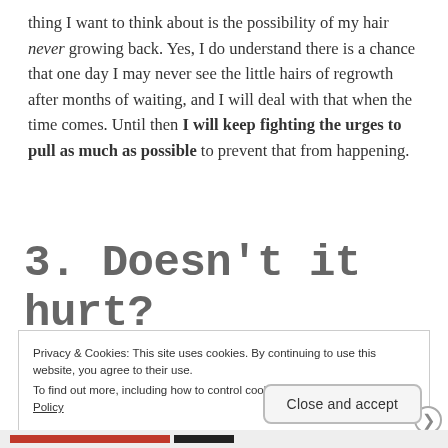thing I want to think about is the possibility of my hair never growing back. Yes, I do understand there is a chance that one day I may never see the little hairs of regrowth after months of waiting, and I will deal with that when the time comes. Until then I will keep fighting the urges to pull as much as possible to prevent that from happening.
3. Doesn't it hurt?
Privacy & Cookies: This site uses cookies. By continuing to use this website, you agree to their use.
To find out more, including how to control cookies, see here: Cookie Policy